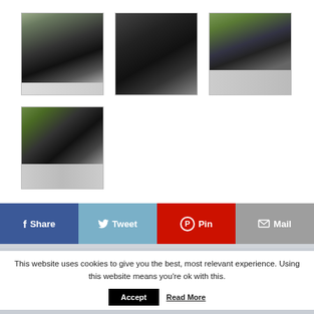[Figure (photo): Gallery of 4 dark-colored car (Audi) thumbnail photos arranged in a 3+1 grid layout, each in a light grey border frame]
[Figure (screenshot): Social share bar with four buttons: Facebook Share (dark blue), Tweet (light blue), Pin (red), Mail (grey)]
This website uses cookies to give you the best, most relevant experience. Using this website means you're ok with this.
Accept  Read More